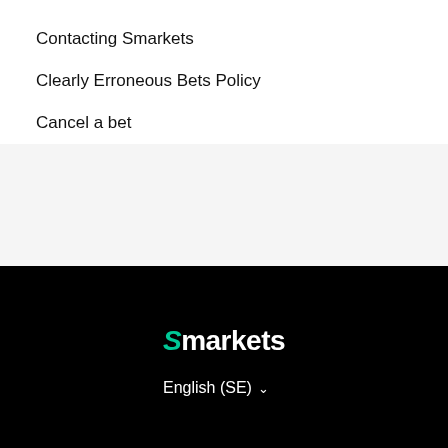Contacting Smarkets
Clearly Erroneous Bets Policy
Cancel a bet
[Figure (logo): Smarkets logo in white text with green italic S on black background, with English (SE) language selector below]